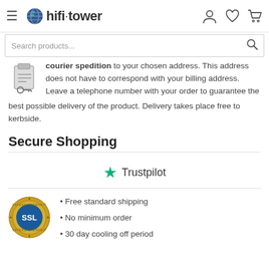hifi·tower
courier spedition to your chosen address. This address does not have to correspond with your billing address. Leave a telephone number with your order to guarantee the best possible delivery of the product. Delivery takes place free to kerbside.
Secure Shopping
[Figure (logo): Trustpilot logo with green star and text 'Trustpilot']
[Figure (logo): SSL Datensicherheit badge (circular gold seal with SSL text)]
Free standard shipping
No minimum order
30 day cooling off period